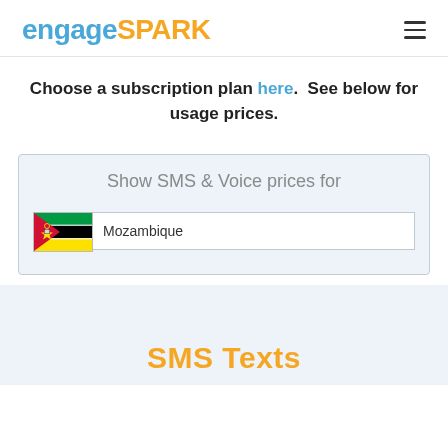engageSPARK
Choose a subscription plan here. See below for usage prices.
[Figure (screenshot): Country selector widget with label 'Show SMS & Voice prices for' and Mozambique flag with text input showing 'Mozambique']
SMS Texts